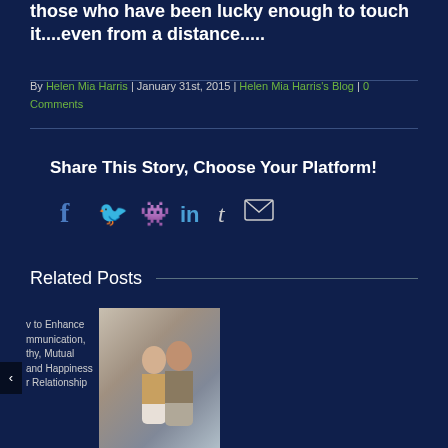those who have been lucky enough to touch it....even from a distance.....
By Helen Mia Harris | January 31st, 2015 | Helen Mia Harris's Blog | 0 Comments
Share This Story, Choose Your Platform!
[Figure (infographic): Social sharing icons: Facebook, Twitter, Reddit, LinkedIn, Tumblr, Email]
Related Posts
[Figure (photo): Related post thumbnail: text about enhancing communication, mutual happiness in relationship, with navigation arrows and a couple photo]
[Figure (photo): Related post thumbnail: sky background with person, text 'Your journey from to emotion']